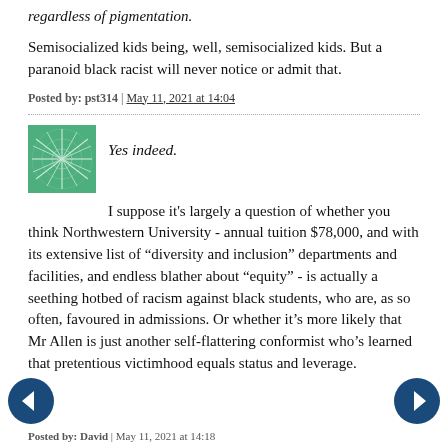regardless of pigmentation.
Semisocialized kids being, well, semisocialized kids. But a paranoid black racist will never notice or admit that.
Posted by: pst314 | May 11, 2021 at 14:04
Yes indeed.
I suppose it's largely a question of whether you think Northwestern University - annual tuition $78,000, and with its extensive list of “diversity and inclusion” departments and facilities, and endless blather about “equity” - is actually a seething hotbed of racism against black students, who are, as so often, favoured in admissions. Or whether it’s more likely that Mr Allen is just another self-flattering conformist who’s learned that pretentious victimhood equals status and leverage.
Posted by: David | May 11, 2021 at 14:18